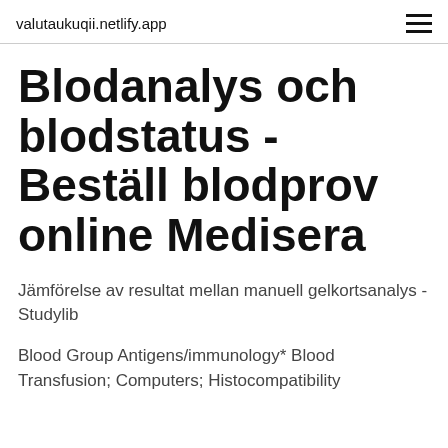valutaukuqii.netlify.app
Blodanalys och blodstatus - Beställ blodprov online Medisera
Jämförelse av resultat mellan manuell gelkortsanalys - Studylib
Blood Group Antigens/immunology* Blood Transfusion; Computers; Histocompatibility